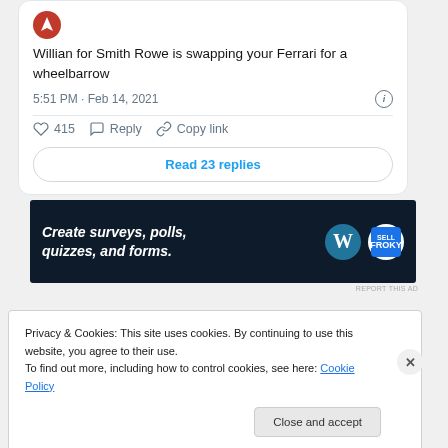Willian for Smith Rowe is swapping your Ferrari for a wheelbarrow
5:51 PM · Feb 14, 2021
415   Reply   Copy link
Read 23 replies
[Figure (screenshot): Advertisement banner with dark navy background showing WordPress logo and text: Create surveys, polls, quizzes, and forms.]
REPORT THIS AD
Privacy & Cookies: This site uses cookies. By continuing to use this website, you agree to their use.
To find out more, including how to control cookies, see here: Cookie Policy
Close and accept